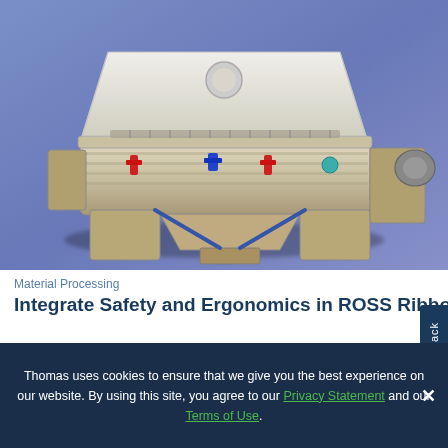[Figure (photo): Industrial stainless steel ribbon blender machine photographed against a blue/purple gradient background. The machine has a horizontal trough body with a hinged lid open at the top, multiple ports and valves on the front, and support legs underneath.]
Material Processing
Integrate Safety and Ergonomics in ROSS Ribbon Blender
Advertisement
Thomas uses cookies to ensure that we give you the best experience on our website. By using this site, you agree to our Privacy Statement and our Terms of Use.